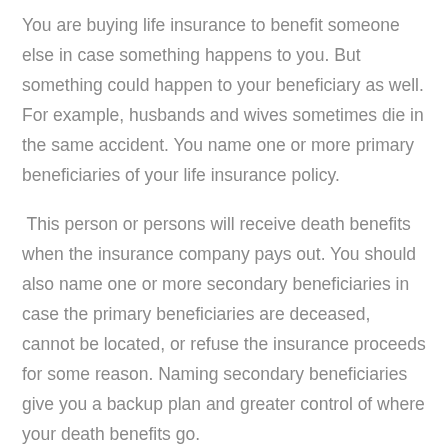You are buying life insurance to benefit someone else in case something happens to you. But something could happen to your beneficiary as well. For example, husbands and wives sometimes die in the same accident. You name one or more primary beneficiaries of your life insurance policy.
This person or persons will receive death benefits when the insurance company pays out. You should also name one or more secondary beneficiaries in case the primary beneficiaries are deceased, cannot be located, or refuse the insurance proceeds for some reason. Naming secondary beneficiaries give you a backup plan and greater control of where your death benefits go.